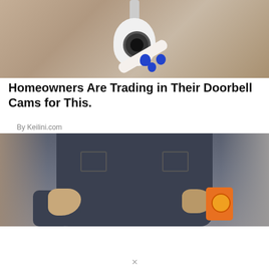[Figure (photo): Security camera mounted on a wall, white dome camera with blue accent dots and a hand/arm visible]
Homeowners Are Trading in Their Doorbell Cams for This.
By Keilini.com
[Figure (photo): Person in dark denim jacket holding something orange (Arm & Hammer product) with hands visible]